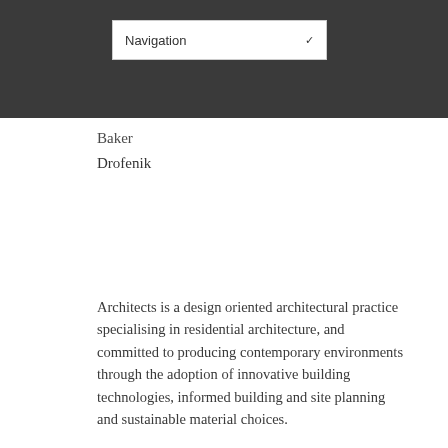Navigation
Baker
Drofenik
Architects is a design oriented architectural practice specialising in residential architecture, and committed to producing contemporary environments through the adoption of innovative building technologies, informed building and site planning and sustainable material choices.